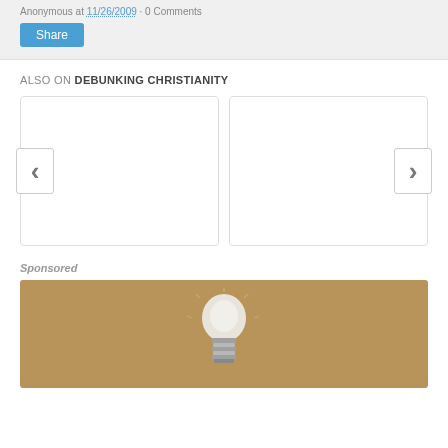Anonymous at 11/26/2009 · 0 Comments
Share
ALSO ON DEBUNKING CHRISTIANITY
[Figure (other): Two white card placeholders with left and right navigation chevron buttons]
Sponsored
[Figure (photo): A light bulb photographed against a warm tan/brown background, showing the metal screw base at bottom center]